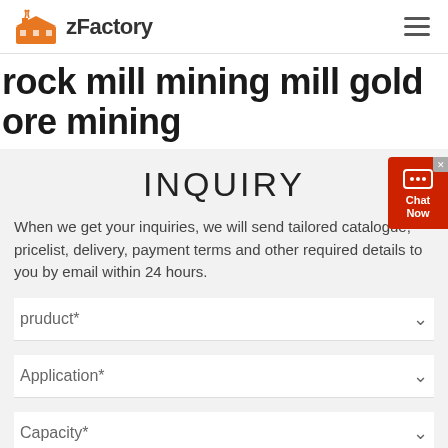[Figure (logo): zFactory logo with orange factory/building icon and bold text 'zFactory']
rock mill mining mill gold ore mining
INQUIRY
When we get your inquiries, we will send tailored catalogue, pricelist, delivery, payment terms and other required details to you by email within 24 hours.
pruduct*
Application*
Capacity*